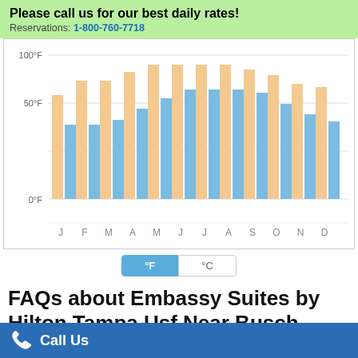Please call us for our best daily rates!
Reservations: 1-800-760-7718
[Figure (grouped-bar-chart): Monthly Temperature Chart]
°F | °C
FAQs about Embassy Suites by Hilton Tampa Usf Near Busch Gardens
Call Us